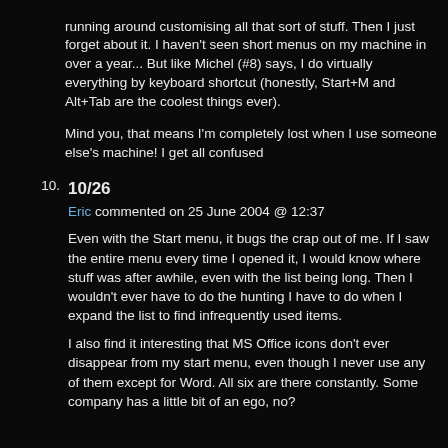running around customising all that sort of stuff. Then I just forget about it. I haven't seen short menus on my machine in over a year... But like Michel (#8) says, I do virtually everything by keyboard shortcut (honestly, Start+M and Alt+Tab are the coolest things ever).

Mind you, that means I'm completely lost when I use someone else's machine! I get all confused
10. 10/26
Eric commented on 25 June 2004 @ 12:37

Even with the Start menu, it bugs the crap out of me. If I saw the entire menu every time I opened it, I would know where stuff was after awhile, even with the list being long. Then I wouldn't ever have to do the hunting I have to do when I expand the list to find infrequently used items.

I also find it interesting that MS Office icons don't ever disappear from my start menu, even though I never use any of them except for Word. All six are there constantly. Some company has a little bit of an ego, no?